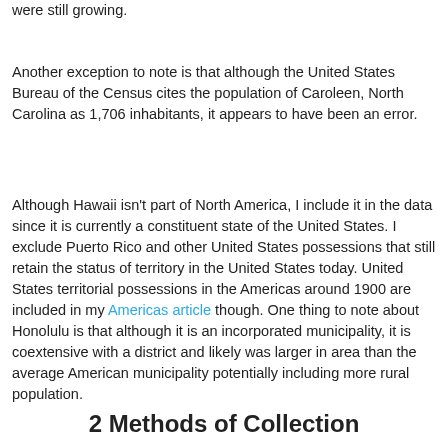were still growing.
Another exception to note is that although the United States Bureau of the Census cites the population of Caroleen, North Carolina as 1,706 inhabitants, it appears to have been an error.
Although Hawaii isn't part of North America, I include it in the data since it is currently a constituent state of the United States. I exclude Puerto Rico and other United States possessions that still retain the status of territory in the United States today. United States territorial possessions in the Americas around 1900 are included in my Americas article though. One thing to note about Honolulu is that although it is an incorporated municipality, it is coextensive with a district and likely was larger in area than the average American municipality potentially including more rural population.
2 Methods of Collection